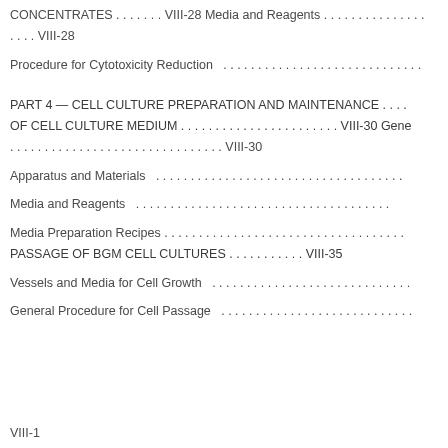CONCENTRATES . . . . . . . VIII-28 Media and Reagents . . . . . . . . . . . . . . . . VIII-28
Procedure for Cytotoxicity Reduction . . . . . . . . . . . . . . . . . . . . . . . . . . . . . .
PART 4 — CELL CULTURE PREPARATION AND MAINTENANCE . . . . OF CELL CULTURE MEDIUM . . . . . . . . . . . . . . . . . . . . . . . . VIII-30 General . . . . . . . . . . . . . . . . . . . . . . . . . . . . . . . . VIII-30
Apparatus and Materials . . . . . . . . . . . . . . . . . . . . . . . . . . . . . . . . . . . . .
Media and Reagents . . . . . . . . . . . . . . . . . . . . . . . . . . . . . . . . . . . . .
Media Preparation Recipes . . . . . . . . . . . . . . . . . . . . . . . . . . . . . . . . . .
PASSAGE OF BGM CELL CULTURES . . . . . . . . . . . VIII-35
Vessels and Media for Cell Growth . . . . . . . . . . . . . . . . . . . . . . . . . . . . . .
General Procedure for Cell Passage . . . . . . . . . . . . . . . . . . . . . . . . . . . . .
VIII-1